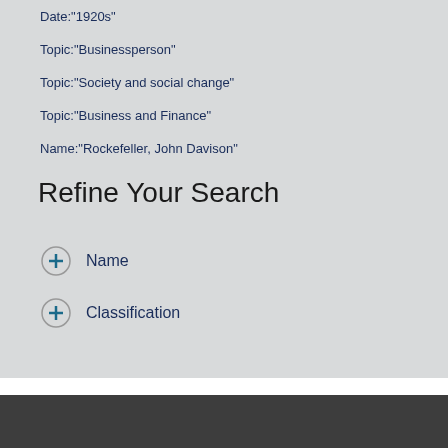Date:"1920s"
Topic:"Businessperson"
Topic:"Society and social change"
Topic:"Business and Finance"
Name:"Rockefeller, John Davison"
Refine Your Search
Name
Classification